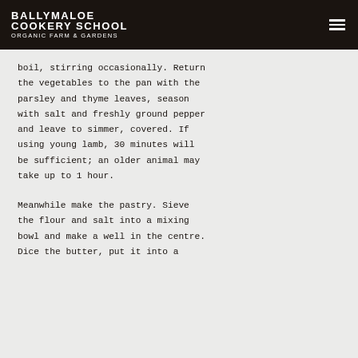BALLYMALOE COOKERY SCHOOL ORGANIC FARM & GARDENS
boil, stirring occasionally. Return the vegetables to the pan with the parsley and thyme leaves, season with salt and freshly ground pepper and leave to simmer, covered. If using young lamb, 30 minutes will be sufficient; an older animal may take up to 1 hour.
Meanwhile make the pastry. Sieve the flour and salt into a mixing bowl and make a well in the centre. Dice the butter, put it into a